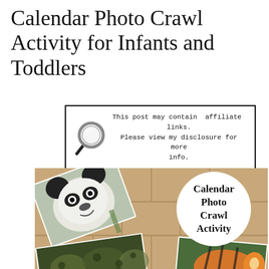Calendar Photo Crawl Activity for Infants and Toddlers
[Figure (other): Affiliate disclosure box with magnifying glass icon. Text reads: This post may contain affiliate links. Please view my disclosure for more info.]
[Figure (photo): Photo of animal calendar cards (panda, leopard, tiger) laid out on tan/beige tile floor with a white circle badge overlay reading 'Calendar Photo Crawl Activity']